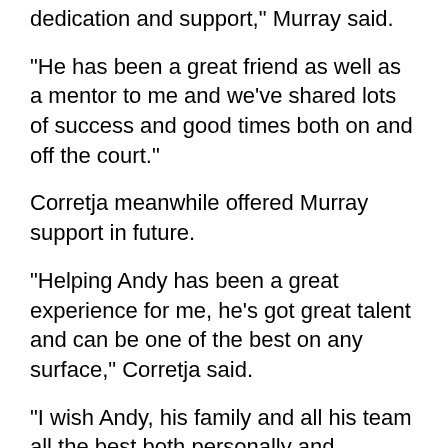dedication and support," Murray said.
"He has been a great friend as well as a mentor to me and we've shared lots of success and good times both on and off the court."
Corretja meanwhile offered Murray support in future.
"Helping Andy has been a great experience for me, he's got great talent and can be one of the best on any surface," Corretja said.
"I wish Andy, his family and all his team all the best both personally and professionally."
Murray, 23, has seen a huge slump in his form since his straight sets loss to Novak Djokovic in the Australian Open final in January and he lost early to qualifiers in the Masters Series events in Indian Wells and Miami.
Those defeats have prompted Murray to rethink the makeup of his coaching team which also includes old